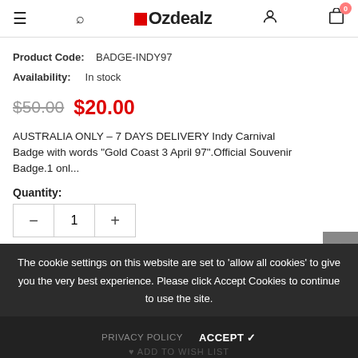Ozdealz
Product Code: BADGE-INDY97
Availability: In stock
$50.00  $20.00
AUSTRALIA ONLY – 7 DAYS DELIVERY Indy Carnival Badge with words "Gold Coast 3 April 97".Official Souvenir Badge.1 onl...
Quantity:
Subtotal: $20.00
The cookie settings on this website are set to 'allow all cookies' to give you the very best experience. Please click Accept Cookies to continue to use the site.
PRIVACY POLICY  ACCEPT ✓
♥ ADD TO WISH LIST